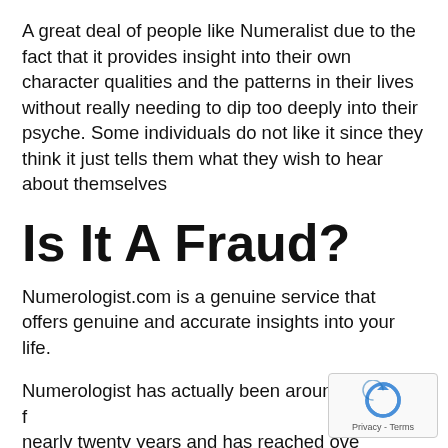A great deal of people like Numeralist due to the fact that it provides insight into their own character qualities and the patterns in their lives without really needing to dip too deeply into their psyche. Some individuals do not like it since they think it just tells them what they wish to hear about themselves
Is It A Fraud?
Numerologist.com is a genuine service that offers genuine and accurate insights into your life.
Numerologist has actually been around for nearly twenty years and has reached over a million members. It's one of the most
[Figure (logo): reCAPTCHA badge with circular arrow icon and Privacy - Terms text]